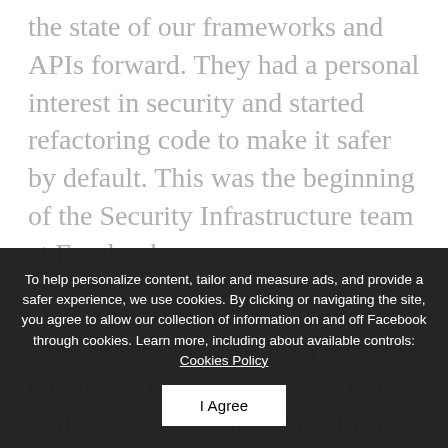the state of our frameworks and APIs forward. They had a personal interest in security and started refactoring code to make it safer by default. This was the beginning of the Security Infrastructure team at Facebook.
“We want to move fast, but we can’t compromise security,” said Gregg. “So we created a team of builders, strong engineers already at Facebook, to build tools that make it very hard for people to include security vulnerabilities in the code they write and integrate into…
The new team also enabled Facebook to readily bring together disciplines that weren’t traditionally in security roles, such as
To help personalize content, tailor and measure ads, and provide a safer experience, we use cookies. By clicking or navigating the site, you agree to allow our collection of information on and off Facebook through cookies. Learn more, including about available controls: Cookies Policy